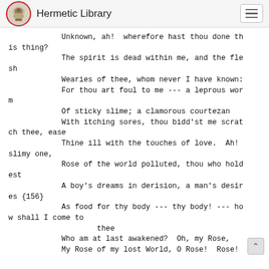Hermetic Library
Unknown, ah!  wherefore hast thou done this thing?
            The spirit is dead within me, and the flesh
            Wearies of thee, whom never I have known:
            For thou art foul to me --- a leprous worm
            Of sticky slime; a clamorous courtezan
            With itching sores, thou bidd'st me scratch thee, ease
            Thine ill with the touches of love.  Ah! slimy one,
            Rose of the world polluted, thou who holdest
            A boy's dreams in derision, a man's desires {156}
            As food for thy body --- thy body! --- how shall I come to
                    thee
            Who am at last awakened?  Oh, my Rose,
            My Rose of my lost World, O Rose!  Rose!